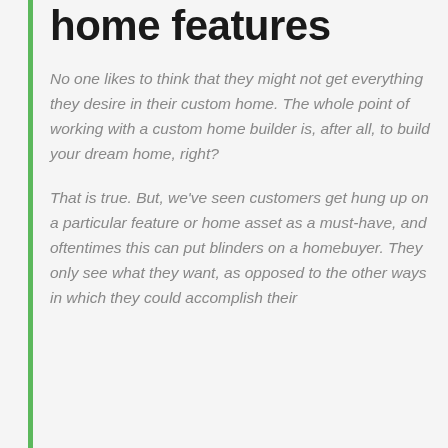home features
No one likes to think that they might not get everything they desire in their custom home. The whole point of working with a custom home builder is, after all, to build your dream home, right?
That is true. But, we've seen customers get hung up on a particular feature or home asset as a must-have, and oftentimes this can put blinders on a homebuyer. They only see what they want, as opposed to the other ways in which they could accomplish their